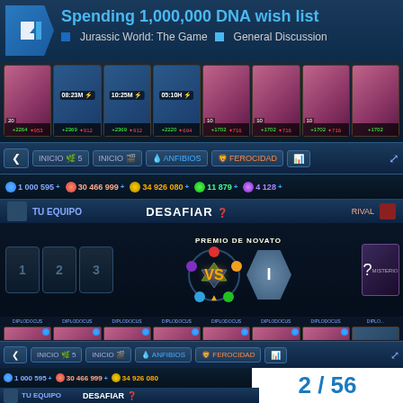Spending 1,000,000 DNA wish list
Jurassic World: The Game  General Discussion
[Figure (screenshot): Jurassic World: The Game mobile app screenshot showing dinosaur card collection with DIPLODOCUS cards, battle challenge screen (DESAFIAR), resource counters showing 1 000 595 DNA, 30 466 999 food, 34 926 080 coins, 11 879 leaves, 4 128 gems, navigation bars with INICIO and ANFIBIOS/FEROCIDAD tabs, and VS battle interface with PREMIO DE NOVATO reward]
2 / 56